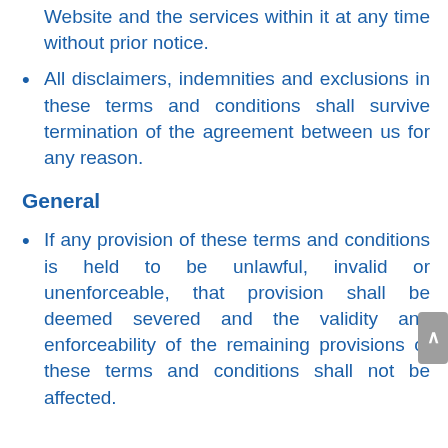Website and the services within it at any time without prior notice.
All disclaimers, indemnities and exclusions in these terms and conditions shall survive termination of the agreement between us for any reason.
General
If any provision of these terms and conditions is held to be unlawful, invalid or unenforceable, that provision shall be deemed severed and the validity and enforceability of the remaining provisions of these terms and conditions shall not be affected.